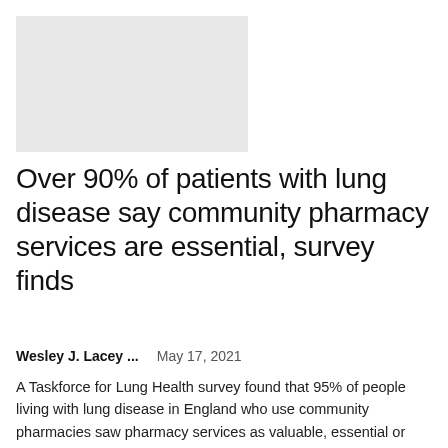[Figure (photo): Light grey placeholder image rectangle in the upper left area of the page]
Over 90% of patients with lung disease say community pharmacy services are essential, survey finds
Wesley J. Lacey ...   May 17, 2021
A Taskforce for Lung Health survey found that 95% of people living with lung disease in England who use community pharmacies saw pharmacy services as valuable, essential or something they "couldn't live without".The task force, a coalition...